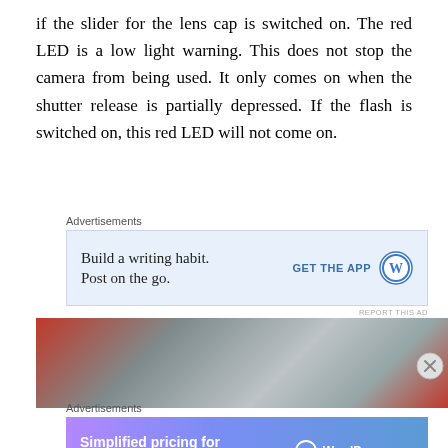if the slider for the lens cap is switched on. The red LED is a low light warning. This does not stop the camera from being used. It only comes on when the shutter release is partially depressed. If the flash is switched on, this red LED will not come on.
Advertisements
[Figure (other): Advertisement banner: 'Build a writing habit. Post on the go.' with GET THE APP button and WordPress logo]
[Figure (photo): Blurred photo showing person in red and gray clothing]
Advertisements
[Figure (other): WordPress.com advertisement: 'Simplified pricing for everything you need.' with WordPress logo]